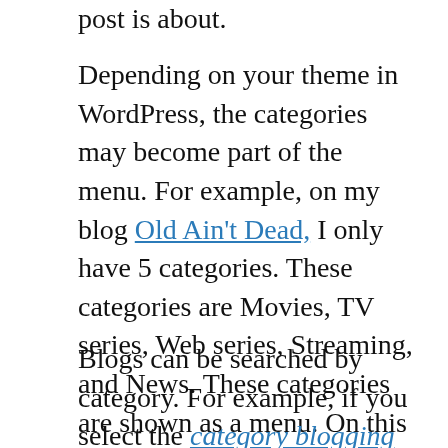post is about.
Depending on your theme in WordPress, the categories may become part of the menu. For example, on my blog Old Ain't Dead, I only have 5 categories. These categories are Movies, TV series, Web series, Streaming, and News. These categories are shown as a menu. On this blog, Web Teacher, I have dozens of categories and it would not be useful to list them as menu items. The categories are, however, shown in the sidebar in a pull-down menu.
Blogs can be searched by category. For example, if you select the category blogging from the list of categories on this blog, every post in that category shows up as a search